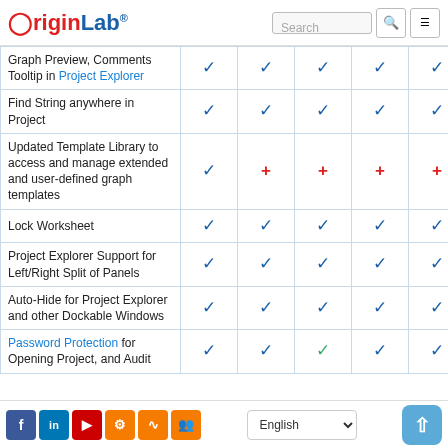OriginLab header with logo, search box, and menu button
| Feature | col1 | col2 | col3 | col4 | col5 |
| --- | --- | --- | --- | --- | --- |
| Graph Preview, Comments Tooltip in Project Explorer | ✓ | ✓ | ✓ | ✓ | ✓ |
| Find String anywhere in Project | ✓ | ✓ | ✓ | ✓ | ✓ |
| Updated Template Library to access and manage extended and user-defined graph templates | ✓ | + | + | + | + |
| Lock Worksheet | ✓ | ✓ | ✓ | ✓ | ✓ |
| Project Explorer Support for Left/Right Split of Panels | ✓ | ✓ | ✓ | ✓ | ✓ |
| Auto-Hide for Project Explorer and other Dockable Windows | ✓ | ✓ | ✓ | ✓ | ✓ |
| Password Protection for Opening Project, and Audit | ✓ | ✓ | ✓ | ✓ | + |
Social icons, English language selector, scroll-to-top button